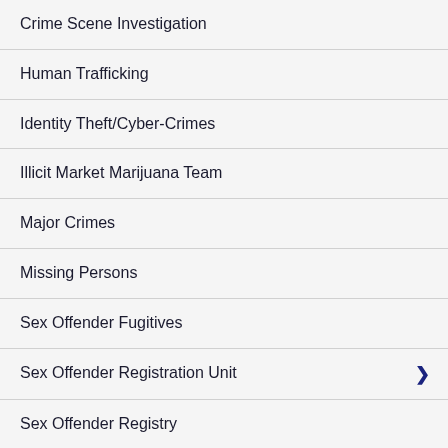Crime Scene Investigation
Human Trafficking
Identity Theft/Cyber-Crimes
Illicit Market Marijuana Team
Major Crimes
Missing Persons
Sex Offender Fugitives
Sex Offender Registration Unit
Sex Offender Registry